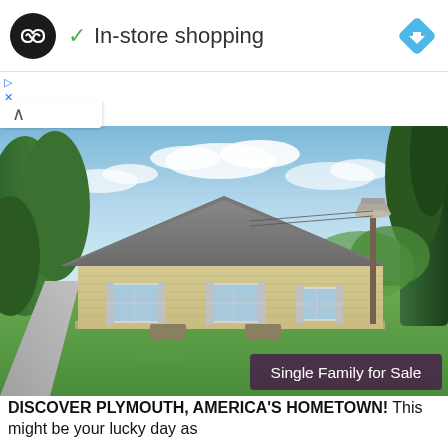In-store shopping
[Figure (photo): Exterior photo of a single-family cape cod style house with tan/beige siding, gray roof, white shuttered windows, green lawn, lamp post, and trees. Overlaid badge reads 'Single Family for Sale'.]
DISCOVER PLYMOUTH, AMERICA'S HOMETOWN! This might be your lucky day as